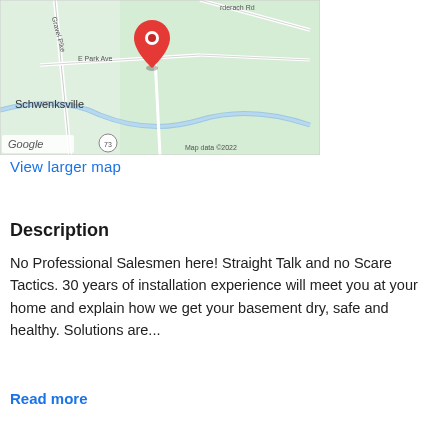[Figure (map): Google Maps screenshot showing area around Schwenksville, PA with a red location pin marker near E Park Ave. Roads including Gravel Pike and Federach Rd visible. Map data ©2022.]
View larger map
Description
No Professional Salesmen here! Straight Talk and no Scare Tactics. 30 years of installation experience will meet you at your home and explain how we get your basement dry, safe and healthy. Solutions are...
Read more